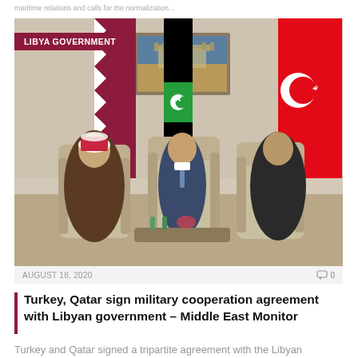maritime relations and calls for the normalization...
[Figure (photo): Three officials seated in ornate chairs with flags of Qatar, Libya, and Turkey behind them, inside a formal meeting room with a landscape painting on the wall. A red label badge reads LIBYA GOVERNMENT.]
AUGUST 18, 2020
0
Turkey, Qatar sign military cooperation agreement with Libyan government – Middle East Monitor
Turkey and Qatar signed a tripartite agreement with the Libyan government for military cooperation, as…